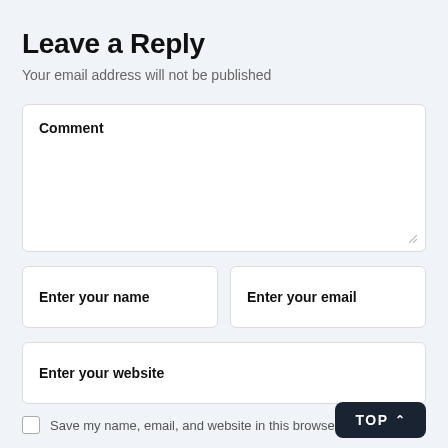Leave a Reply
Your email address will not be published
Comment
Enter your name
Enter your email
Enter your website
Save my name, email, and website in this browser for the